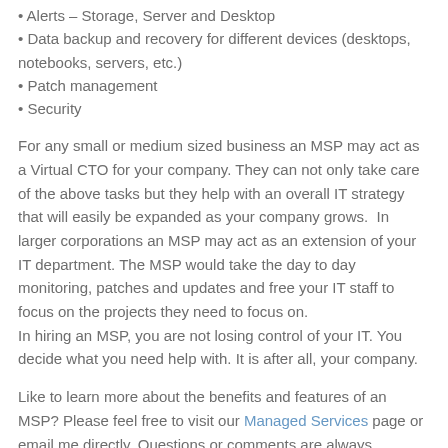• Alerts – Storage, Server and Desktop
• Data backup and recovery for different devices (desktops, notebooks, servers, etc.)
• Patch management
• Security
For any small or medium sized business an MSP may act as a Virtual CTO for your company. They can not only take care of the above tasks but they help with an overall IT strategy that will easily be expanded as your company grows.  In larger corporations an MSP may act as an extension of your IT department. The MSP would take the day to day monitoring, patches and updates and free your IT staff to focus on the projects they need to focus on.
In hiring an MSP, you are not losing control of your IT. You decide what you need help with. It is after all, your company.
Like to learn more about the benefits and features of an MSP? Please feel free to visit our Managed Services page or email me directly. Questions or comments are always welcome below.